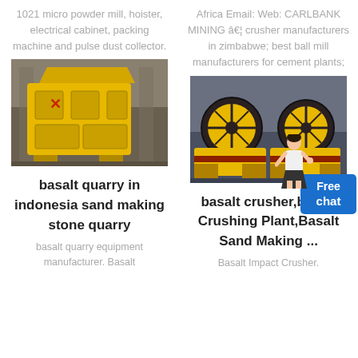1021 micro powder mill, hoister, electrical cabinet, packing machine and pulse dust collector.
Africa Email: Web: CARLBANK MINING â€¦ crusher manufacturers in zimbabwe; best ball mill manufacturers for cement plants;
[Figure (photo): Yellow impact crusher machine in a warehouse setting]
[Figure (photo): Yellow jaw crusher machines in a warehouse setting]
basalt quarry in indonesia sand making stone quarry
basalt crusher,basalt Crushing Plant,Basalt Sand Making ...
basalt quarry equipment manufacturer. Basalt
Basalt Impact Crusher.